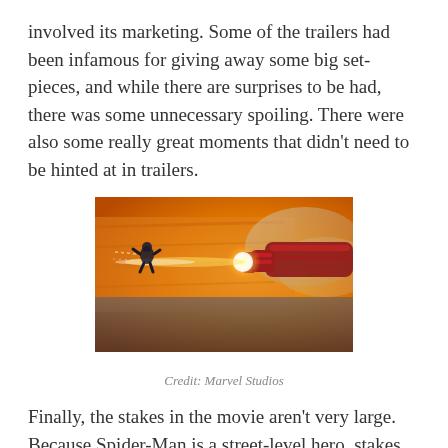involved its marketing. Some of the trailers had been infamous for giving away some big set-pieces, and while there are surprises to be had, there was some unnecessary spoiling. There were also some really great moments that didn't need to be hinted at in trailers.
[Figure (photo): A movie still showing Iron Man firing a repulsor beam, with orange/fiery background and atmospheric haze. A small figure (Spider-Man) is visible being blasted away.]
Credit: Marvel Studios
Finally, the stakes in the movie aren't very large. Because Spider-Man is a street-level hero, stakes are lower here,